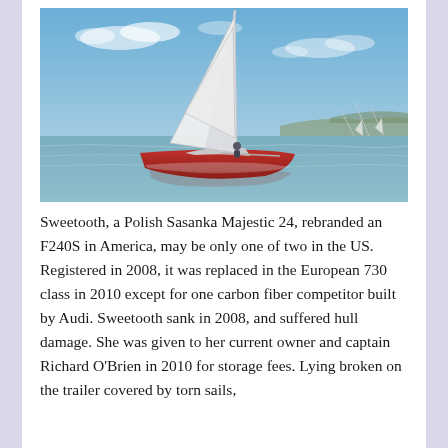[Figure (photo): A red-hulled sailboat with white sails on calm water, sailing under a blue sky with light clouds. A bridge is visible in the background.]
Sweetooth, a Polish Sasanka Majestic 24, rebranded an F240S in America, may be only one of two in the US. Registered in 2008, it was replaced in the European 730 class in 2010 except for one carbon fiber competitor built by Audi. Sweetooth sank in 2008, and suffered hull damage. She was given to her current owner and captain Richard O'Brien in 2010 for storage fees. Lying broken on the trailer covered by torn sails,